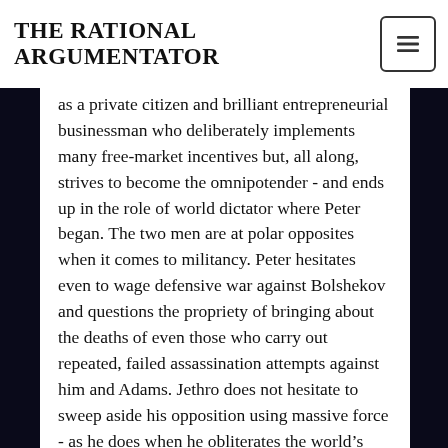THE RATIONAL ARGUMENTATOR
as a private citizen and brilliant entrepreneurial businessman who deliberately implements many free-market incentives but, all along, strives to become the omnipotender - and ends up in the role of world dictator where Peter began. The two men are at polar opposites when it comes to militancy. Peter hesitates even to wage defensive war against Bolshekov and questions the propriety of bringing about the deaths of even those who carry out repeated, failed assassination attempts against him and Adams. Jethro does not hesitate to sweep aside his opposition using massive force - as he does when he obliterates the world's religious and political monuments in an effort to erase the lingering influence of traditional